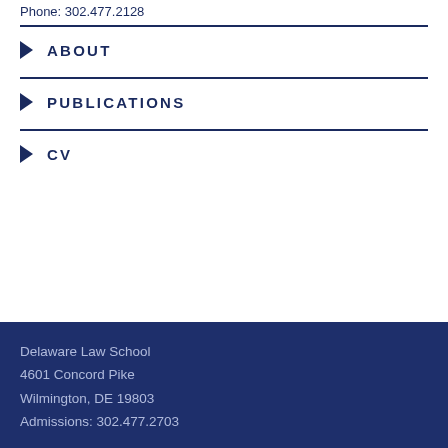Phone: 302.477.2128
ABOUT
PUBLICATIONS
CV
Delaware Law School
4601 Concord Pike
Wilmington, DE 19803
Admissions: 302.477.2703